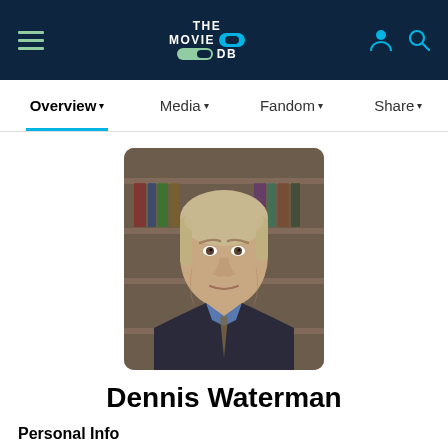THE MOVIE DB — navigation bar with hamburger menu, logo, user icon, search icon
Overview ▾   Media ▾   Fandom ▾   Share ▾
[Figure (photo): Headshot photo of Dennis Waterman, an older man with silver-blond hair, wearing a dark blazer and blue shirt with a patterned tie, seated against a blurred bookshelf background.]
Dennis Waterman
Personal Info
Known For                                Known Credits